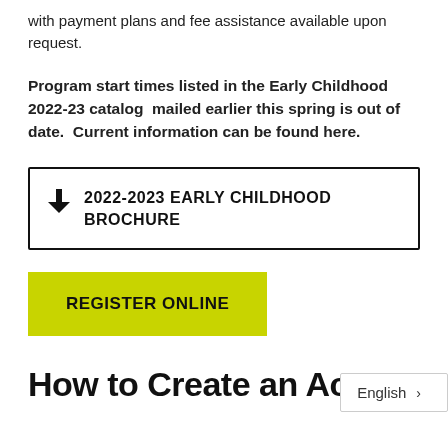with payment plans and fee assistance available upon request.
Program start times listed in the Early Childhood 2022-23 catalog  mailed earlier this spring is out of date.  Current information can be found here.
⬇  2022-2023 EARLY CHILDHOOD BROCHURE
REGISTER ONLINE
How to Create an Accou...
English >